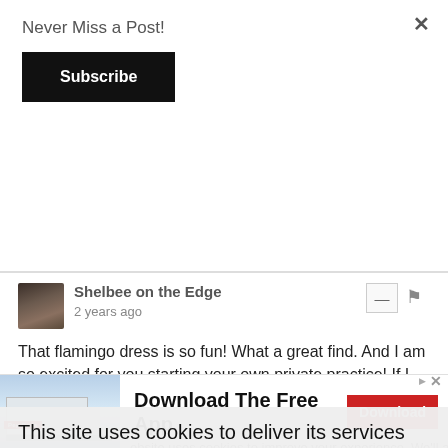Never Miss a Post!
Subscribe
[Figure (screenshot): Comment from 'Shelbee on the Edge', 2 years ago, with avatar photo and action buttons (minus and flag). Text: That flamingo dress is so fun! What a great find. And I am so excited for you starting your own private practice! If I lived closer, I would be the first in line for your counseling services! But seriously...ad!]
This site uses cookies to deliver its services and to analyse traffic. By using this site, you agree to its use of cookies. Learn more
...ebsite uses cookies to improve your experience. We'll assume
[Figure (screenshot): Advertisement banner for Firestone with building image on left, text 'Download The Free App' and red Download button on right. AdChoices icon top right.]